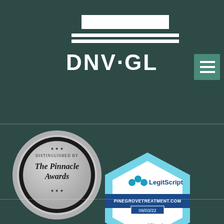[Figure (logo): DNV·GL logo with white rectangular bar and horizontal lines above text, centered in dark teal header area]
[Figure (logo): Green teal square hamburger menu icon in top-right corner]
[Figure (logo): The Pinnacle Awards silver medal badge - 'Distinguished by The Pinnacle Awards' in metallic silver with stars, on left side]
[Figure (logo): LegitScript Certified badge - octagonal shape in light blue with LegitScript logo, PINEGROVETREATMENT.COM, date 09/03/22, and 'Certified' text]